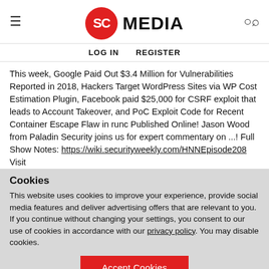SC MEDIA — LOG IN   REGISTER
This week, Google Paid Out $3.4 Million for Vulnerabilities Reported in 2018, Hackers Target WordPress Sites via WP Cost Estimation Plugin, Facebook paid $25,000 for CSRF exploit that leads to Account Takeover, and PoC Exploit Code for Recent Container Escape Flaw in runc Published Online! Jason Wood from Paladin Security joins us for expert commentary on ...! Full Show Notes: https://wiki.securityweekly.com/HNNEpisode208 Visit
Cookies
This website uses cookies to improve your experience, provide social media features and deliver advertising offers that are relevant to you. If you continue without changing your settings, you consent to our use of cookies in accordance with our privacy policy. You may disable cookies.
Accept Cookies